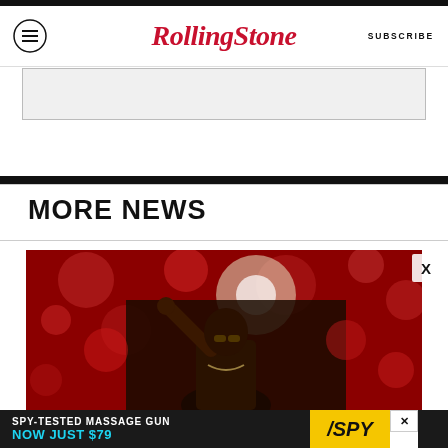RollingStone | SUBSCRIBE
[Figure (other): Gray advertisement placeholder box]
MORE NEWS
[Figure (photo): Male performer on stage pointing upward with one hand against a red bokeh background, wearing sunglasses and jewelry]
[Figure (other): Advertisement banner: SPY-TESTED MASSAGE GUN NOW JUST $79 with SPY logo on yellow background]